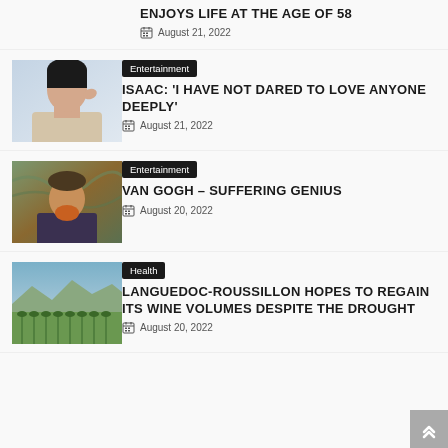ENJOYS LIFE AT THE AGE OF 58
August 21, 2022
[Figure (photo): Portrait photo of a young Asian man in a beige knit sweater]
Entertainment
ISAAC: 'I HAVE NOT DARED TO LOVE ANYONE DEEPLY'
August 21, 2022
[Figure (photo): Van Gogh self-portrait painting]
Entertainment
VAN GOGH – SUFFERING GENIUS
August 20, 2022
[Figure (photo): Vineyard landscape in Languedoc-Roussillon with mountains in background]
Health
LANGUEDOC-ROUSSILLON HOPES TO REGAIN ITS WINE VOLUMES DESPITE THE DROUGHT
August 20, 2022